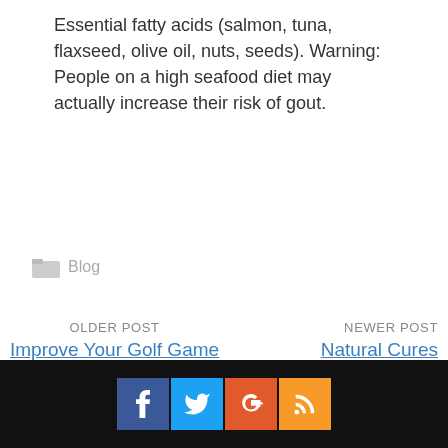Essential fatty acids (salmon, tuna, flaxseed, olive oil, nuts, seeds). Warning: People on a high seafood diet may actually increase their risk of gout.
Blog
OLDER POST
Improve Your Golf Game
NEWER POST
Natural Cures